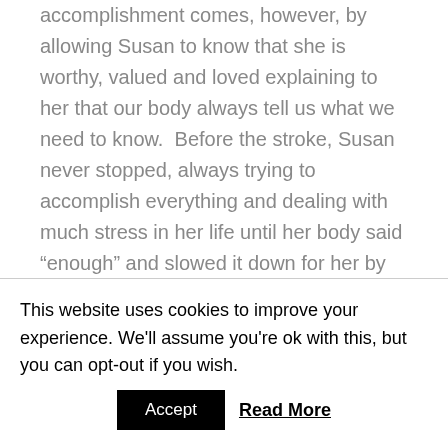accomplishment comes, however, by allowing Susan to know that she is worthy, valued and loved explaining to her that our body always tell us what we need to know.  Before the stroke, Susan never stopped, always trying to accomplish everything and dealing with much stress in her life until her body said “enough” and slowed it down for her by causing a stroke.  It is a hard concept for us to understand, but there is always a mind/body connection and it is very important to read the signs the body is trying to get us to hear.  The most exciting news here is that
This website uses cookies to improve your experience. We’ll assume you’re ok with this, but you can opt-out if you wish.
Accept
Read More